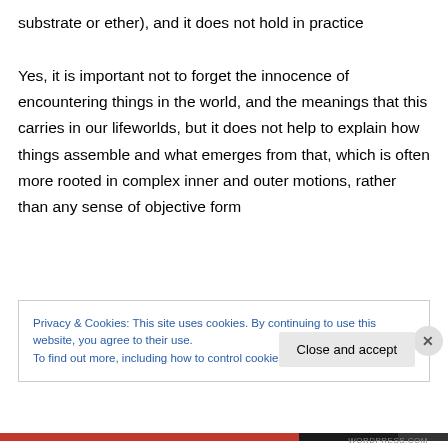substrate or ether), and it does not hold in practice
Yes, it is important not to forget the innocence of encountering things in the world, and the meanings that this carries in our lifeworlds, but it does not help to explain how things assemble and what emerges from that, which is often more rooted in complex inner and outer motions, rather than any sense of objective form
Privacy & Cookies: This site uses cookies. By continuing to use this website, you agree to their use.
To find out more, including how to control cookies, see here: Cookie Policy
WORDPRESS.COM